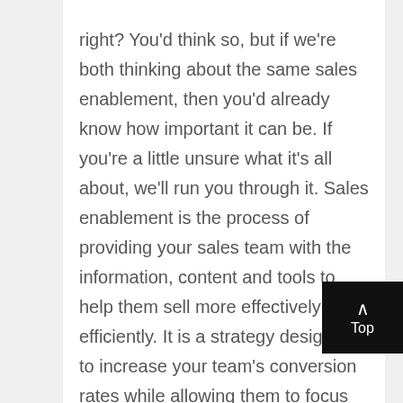right? You'd think so, but if we're both thinking about the same sales enablement, then you'd already know how important it can be. If you're a little unsure what it's all about, we'll run you through it. Sales enablement is the process of providing your sales team with the information, content and tools to help them sell more effectively and efficiently. It is a strategy designed to increase your team's conversion rates while allowing them to focus on the selling rather than working out how to sell.